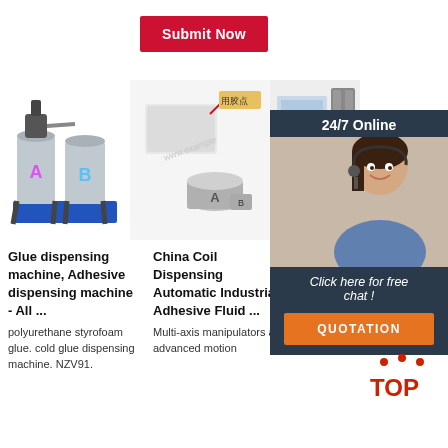[Figure (screenshot): Red 'Submit Now' button]
[Figure (photo): Glue dispensing machine with two tanks labeled A and B on a blue platform]
[Figure (photo): China Coil Dispensing products - filter/adhesive with bucket labeled A]
[Figure (photo): Air filter panels and 24/7 Online customer service representative chat overlay with QUOTATION button]
Glue dispensing machine, Adhesive dispensing machine - All ...
polyurethane styrofoam glue. cold glue dispensing machine. NZV91.
China Coil Dispensing Automatic Industrial Adhesive Fluid ...
Multi-axis manipulators and advanced motion
China Glue Dispensing Machine manufacturers - Select 2021 high
China Glue Dispensing Machine ...